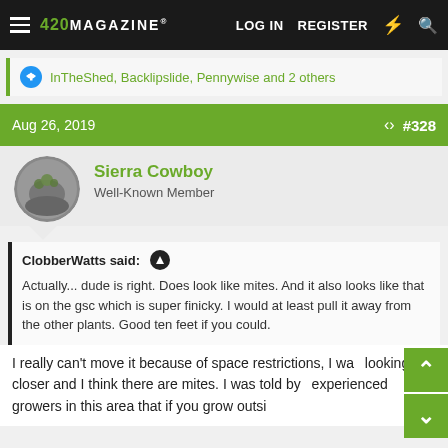420 MAGAZINE® | LOG IN | REGISTER
InTheShed, Backlipslide, Pennywise and 2 others
Aug 26, 2019  #328
Sierra Cowboy
Well-Known Member
ClobberWatts said:
Actually... dude is right. Does look like mites. And it also looks like that is on the gsc which is super finicky. I would at least pull it away from the other plants. Good ten feet if you could.
I really can't move it because of space restrictions, I wa looking closer and I think there are mites. I was told by experienced growers in this area that if you grow outsi